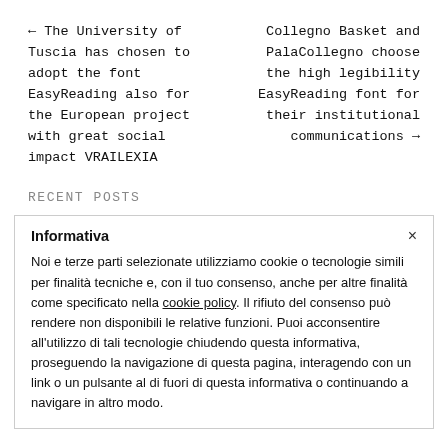← The University of Tuscia has chosen to adopt the font EasyReading also for the European project with great social impact VRAILEXIA
Collegno Basket and PalaCollegno choose the high legibility EasyReading font for their institutional communications →
RECENT POSTS
Informativa
Noi e terze parti selezionate utilizziamo cookie o tecnologie simili per finalità tecniche e, con il tuo consenso, anche per altre finalità come specificato nella cookie policy. Il rifiuto del consenso può rendere non disponibili le relative funzioni. Puoi acconsentire all'utilizzo di tali tecnologie chiudendo questa informativa, proseguendo la navigazione di questa pagina, interagendo con un link o un pulsante al di fuori di questa informativa o continuando a navigare in altro modo.